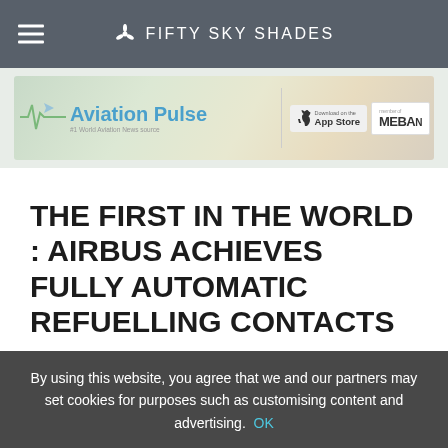FIFTY SKY SHADES
[Figure (infographic): Aviation Pulse banner advertisement showing logo with heartbeat line and plane icon, App Store badge, and MEBA logo]
THE FIRST IN THE WORLD : AIRBUS ACHIEVES FULLY AUTOMATIC REFUELLING CONTACTS
By using this website, you agree that we and our partners may set cookies for purposes such as customising content and advertising. OK